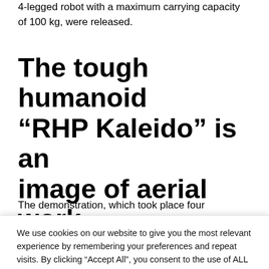4-legged robot with a maximum carrying capacity of 100 kg, were released.
The tough humanoid “RHP Kaleido” is an image of aerial work
The demonstration, which took place four
We use cookies on our website to give you the most relevant experience by remembering your preferences and repeat visits. By clicking “Accept All”, you consent to the use of ALL the cookies. However, you may visit "Cookie Settings" to provide a controlled consent.
Cookie Settings | Accept All